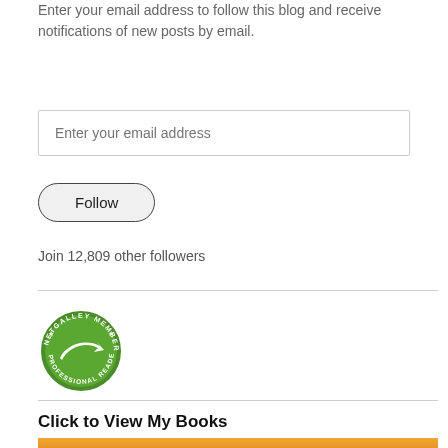Enter your email address to follow this blog and receive notifications of new posts by email.
Enter your email address
Follow
Join 12,809 other followers
[Figure (logo): NetGalley Member Professional Reader badge — circular green and white logo with stylized arrow and stars]
Click to View My Books
[Figure (photo): Sunset sky photograph with orange and golden tones, silhouetted cursive text visible at bottom]